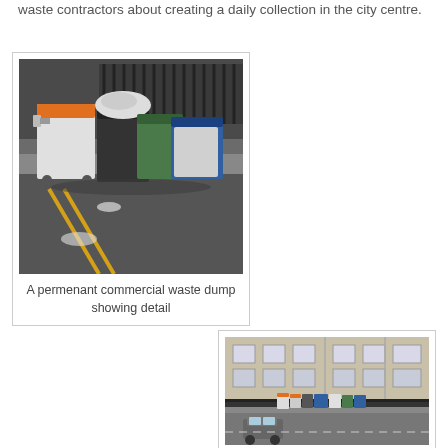waste contractors about creating a daily collection in the city centre.
[Figure (photo): Close-up photograph of a permanent commercial waste dump showing multiple wheelie bins (orange-lidded white bin, overflowing black bin, green bin, blue bin) on a street pavement next to yellow road markings.]
A permenant commercial waste dump showing detail
[Figure (photo): Street-level photograph showing a row of commercial waste bins lined up along a wall on a city street, with a building facade visible and a car passing.]